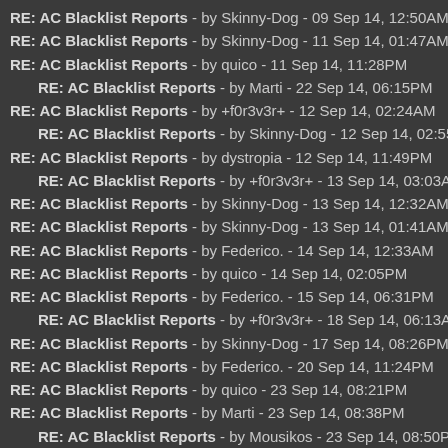RE: AC Blacklist Reports - by Skinny-Dog - 09 Sep 14, 12:50AM
RE: AC Blacklist Reports - by Skinny-Dog - 11 Sep 14, 01:47AM
RE: AC Blacklist Reports - by quico - 11 Sep 14, 11:28PM
RE: AC Blacklist Reports - by Marti - 22 Sep 14, 06:15PM
RE: AC Blacklist Reports - by +f0r3v3r+ - 12 Sep 14, 02:24AM
RE: AC Blacklist Reports - by Skinny-Dog - 12 Sep 14, 02:55AM
RE: AC Blacklist Reports - by dystropia - 12 Sep 14, 11:49PM
RE: AC Blacklist Reports - by +f0r3v3r+ - 13 Sep 14, 03:03AM
RE: AC Blacklist Reports - by Skinny-Dog - 13 Sep 14, 12:32AM
RE: AC Blacklist Reports - by Skinny-Dog - 13 Sep 14, 01:41AM
RE: AC Blacklist Reports - by Federico. - 14 Sep 14, 12:33AM
RE: AC Blacklist Reports - by quico - 14 Sep 14, 02:05PM
RE: AC Blacklist Reports - by Federico. - 15 Sep 14, 06:31PM
RE: AC Blacklist Reports - by +f0r3v3r+ - 18 Sep 14, 06:13AM
RE: AC Blacklist Reports - by Skinny-Dog - 17 Sep 14, 08:26PM
RE: AC Blacklist Reports - by Federico. - 20 Sep 14, 11:24PM
RE: AC Blacklist Reports - by quico - 23 Sep 14, 08:21PM
RE: AC Blacklist Reports - by Marti - 23 Sep 14, 08:38PM
RE: AC Blacklist Reports - by Mousikos - 23 Sep 14, 08:50PM
RE: AC Blacklist Reports - by quico - 23 Sep 14, 09:02PM
RE: AC Blacklist Reports - by jamz - 24 Sep 14, 07:42AM
RE: AC Blacklist Reports - by DeathCrew77 - 29 Dec 14, 01:19AM
RE: AC Blacklist Reports - by Marti - 23 Sep 14, 09:54PM
RE: AC Blacklist Reports - by dystropia - 24 Sep 14, 01:10AM
RE: AC Blacklist Reports - by Mousikos - 24 Sep 14, 02:16AM